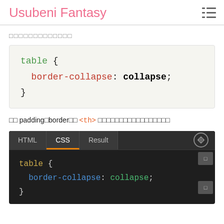Usubeni Fantasy
□□□□□□□□□□□□□
table {
  border-collapse: collapse;
}
□□ padding□border□□ <th> □□□□□□□□□□□□□□□□□
[Figure (screenshot): CodePen editor screenshot showing HTML/CSS/Result tabs with CSS tab active (orange underline). Code panel shows: table { border-collapse: collapse; } in dark theme with yellow 'table', blue 'border-collapse', green 'collapse' syntax highlighting.]